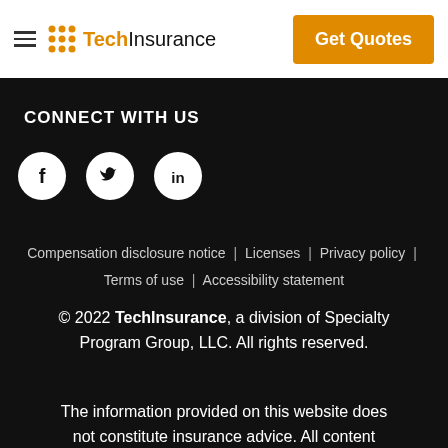TechInsurance — Get Quotes
CONNECT WITH US
[Figure (illustration): Three social media icons: Facebook (f), Twitter (bird), LinkedIn (in), displayed as white icons on white circles against black background]
Compensation disclosure notice | Licenses | Privacy policy | Terms of use | Accessibility statement
© 2022 TechInsurance, a division of Specialty Program Group, LLC. All rights reserved.
The information provided on this website does not constitute insurance advice. All content and materials are for general informational purposes only. Complete Insureon's online